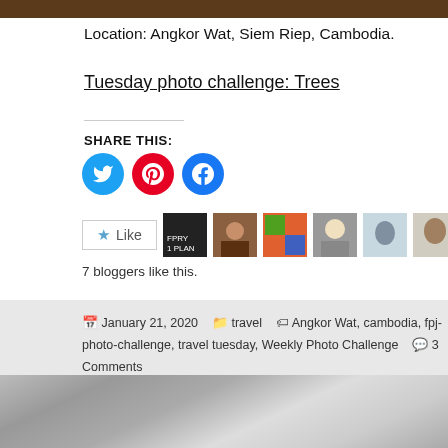[Figure (photo): Top cropped photo strip — dark brown tones, appears to be foliage or trees]
Location: Angkor Wat, Siem Riep, Cambodia.
Tuesday photo challenge: Trees
SHARE THIS:
[Figure (infographic): Social share buttons: Twitter (cyan), Pinterest (red), Facebook (blue)]
[Figure (infographic): Like button and 7 blogger avatar thumbnails]
7 bloggers like this.
January 21, 2020   travel   Angkor Wat, cambodia, fpj-photo-challenge, travel tuesday, Weekly Photo Challenge   3 Comments
[Figure (photo): Bottom photo: black and white image of a Fujifilm camera on a map]